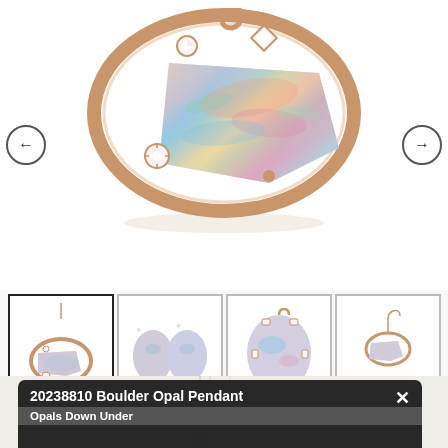[Figure (photo): Large main image of a Boulder Opal Pendant in a rose gold oval frame with diamonds, showing colorful opal gemstone with play-of-color in blue, green, pink, and orange hues. Navigation arrows on left and right sides.]
[Figure (photo): Thumbnail strip with four images: (1) selected thumbnail showing full pendant with chain, (2) close-up of opal with diamond accents, (3) single opal stone close-up, (4) pendant with ruler for scale. Navigation arrows on left and right.]
[Figure (screenshot): Dark overlay panel at bottom showing product title '20238810 Boulder Opal Pendant' and subtitle 'Opals Down Under' with a close (X) button.]